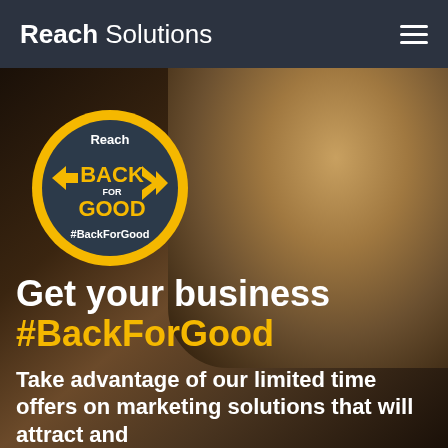Reach Solutions
[Figure (logo): Reach Back For Good circular badge/logo in yellow and dark navy with chevron arrows and text '#BackForGood']
Get your business #BackForGood
Take advantage of our limited time offers on marketing solutions that will attract and